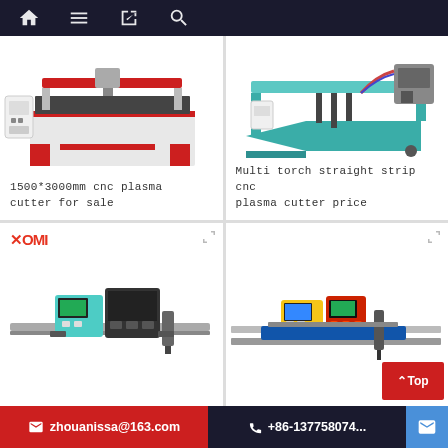Navigation bar with home, menu, book, and search icons
[Figure (photo): 1500*3000mm CNC plasma cutter machine with red frame and white control panel]
1500*3000mm cnc plasma cutter for sale
[Figure (photo): Multi torch straight strip CNC plasma cutter in teal/blue color]
Multi torch straight strip cnc plasma cutter price
[Figure (photo): XOMI branded portable CNC plasma cutter machine]
[Figure (photo): Portable CNC plasma cutter with yellow and red controller on rail]
zhouanissa@163.com  +86-13775807...